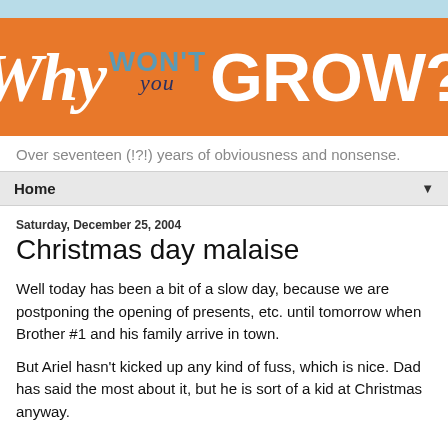[Figure (illustration): Blog header banner with orange background reading 'Why won't you GROW?' in stylized lettering. 'Why' and 'GROW?' are in large white text, 'won't' is in blue uppercase, 'you' is in dark navy italic script.]
Over seventeen (!?!) years of obviousness and nonsense.
Home
Saturday, December 25, 2004
Christmas day malaise
Well today has been a bit of a slow day, because we are postponing the opening of presents, etc. until tomorrow when Brother #1 and his family arrive in town.
But Ariel hasn't kicked up any kind of fuss, which is nice. Dad has said the most about it, but he is sort of a kid at Christmas anyway.